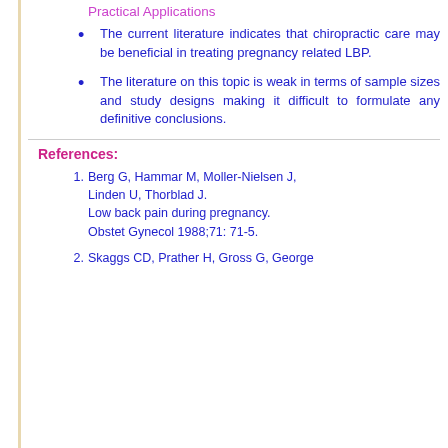Practical Applications
The current literature indicates that chiropractic care may be beneficial in treating pregnancy related LBP.
The literature on this topic is weak in terms of sample sizes and study designs making it difficult to formulate any definitive conclusions.
References:
Berg G, Hammar M, Moller-Nielsen J, Linden U, Thorblad J. Low back pain during pregnancy. Obstet Gynecol 1988;71: 71-5.
Skaggs CD, Prather H, Gross G, George...